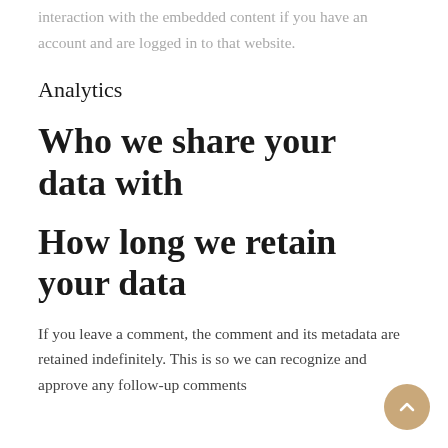interaction with the embedded content if you have an account and are logged in to that website.
Analytics
Who we share your data with
How long we retain your data
If you leave a comment, the comment and its metadata are retained indefinitely. This is so we can recognize and approve any follow-up comments